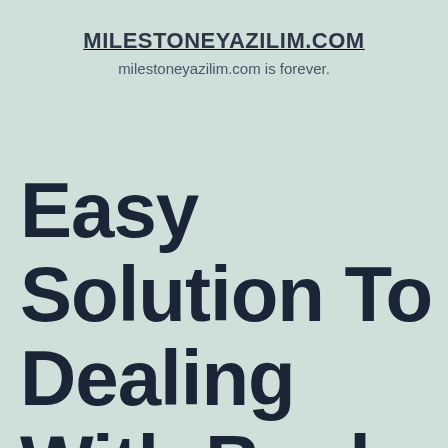MILESTONEYAZILIM.COM
milestoneyazilim.com is forever.
Easy Solution To Dealing With Bank Cards